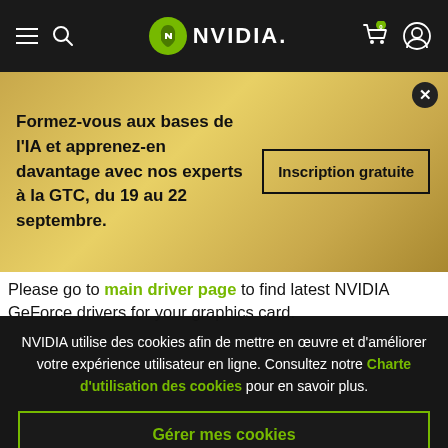NVIDIA — navigation header with hamburger menu, search, NVIDIA logo, cart (0), user icon
Formez-vous aux bases de l'IA et apprenez-en davantage avec nos experts à la GTC, du 19 au 22 septembre. Inscription gratuite
Please go to main driver page to find latest NVIDIA GeForce drivers for your graphics card.
NVIDIA utilise des cookies afin de mettre en œuvre et d'améliorer votre expérience utilisateur en ligne. Consultez notre Charte d'utilisation des cookies pour en savoir plus.
Gérer mes cookies
Accepter tous les cookies